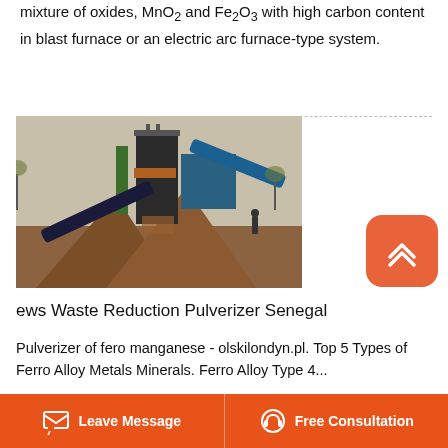mixture of oxides, MnO2 and Fe2O3 with high carbon content in blast furnace or an electric arc furnace-type system.
[Figure (photo): Industrial waste reduction pulverizer machine operating outdoors, creating large piles of crushed material on bare ground, with a person standing nearby for scale.]
ews Waste Reduction Pulverizer Senegal
Pulverizer of fero manganese - olskilondyn.pl. Top 5 Types of Ferro Alloy Metals Minerals. Ferro Alloy Type 4...
Leave Message   Free Consultation